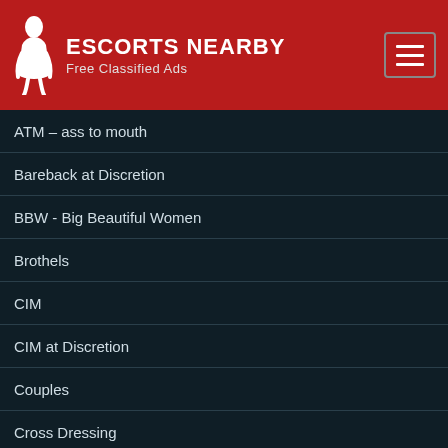ESCORTS NEARBY – Free Classified Ads
ATM – ass to mouth
Bareback at Discretion
BBW - Big Beautiful Women
Brothels
CIM
CIM at Discretion
Couples
Cross Dressing
Deep Throat
Dinner Dates
Disabled Clients
Doggy Style Sex